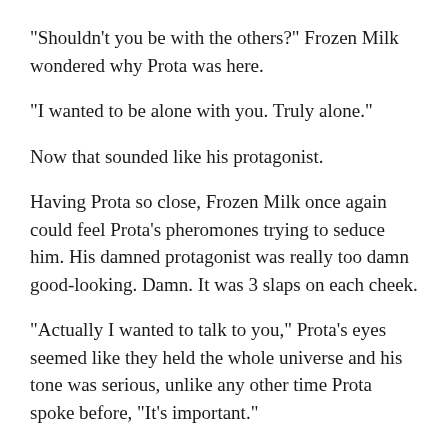"Shouldn't you be with the others?" Frozen Milk wondered why Prota was here.
"I wanted to be alone with you. Truly alone."
Now that sounded like his protagonist.
Having Prota so close, Frozen Milk once again could feel Prota's pheromones trying to seduce him. His damned protagonist was really too damn good-looking. Damn. It was 3 slaps on each cheek.
"Actually I wanted to talk to you," Prota's eyes seemed like they held the whole universe and his tone was serious, unlike any other time Prota spoke before, "It's important."
"Say it," Frozen Milk didn't mean to sound so overbearing but Prota gently smiled. It was a smile that could melt